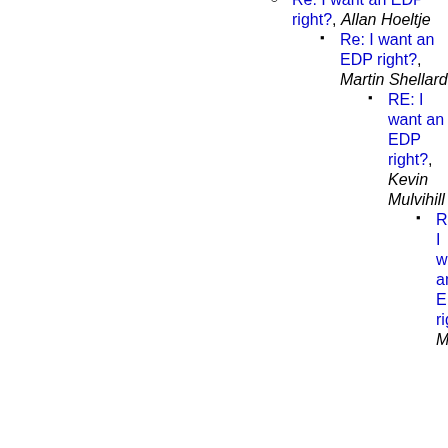Re: I want an EDP right?, Allan Hoeltje
Re: I want an EDP right?, Martin Shellard
RE: I want an EDP right?, Kevin Mulvihill
Re: I want an EDP right?, Mark
Ag... be... pro..., Joh... Tic...